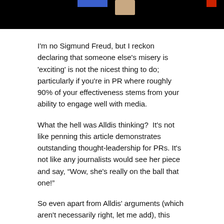[Figure (photo): Partial photo strip at top of page showing dark background with colored bars (blue, skin-tone, red)]
I'm no Sigmund Freud, but I reckon declaring that someone else's misery is 'exciting' is not the nicest thing to do; particularly if you're in PR where roughly 90% of your effectiveness stems from your ability to engage well with media.
What the hell was Alldis thinking?  It's not like penning this article demonstrates outstanding thought-leadership for PRs. It's not like any journalists would see her piece and say, “Wow, she's really on the ball that one!”
So even apart from Alldis' arguments (which aren't necessarily right, let me add), this column was never going to add any value.
All it does is illustrate the writer's glee at another's misfortune.